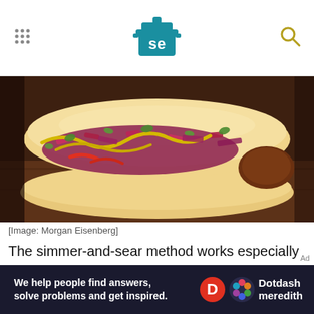Serious Eats logo with navigation dots and search icon
[Figure (photo): Close-up photo of a bratwurst in a bun topped with red cabbage, peppers, mustard, and fresh herbs on a wooden board]
[Image: Morgan Eisenberg]
The simmer-and-sear method works especially well for bratwurst, which can be difficult to cook evenly on a grill. In this recipe, we make the most of the
[Figure (infographic): Dotdash Meredith advertisement bar: 'We help people find answers, solve problems and get inspired.']